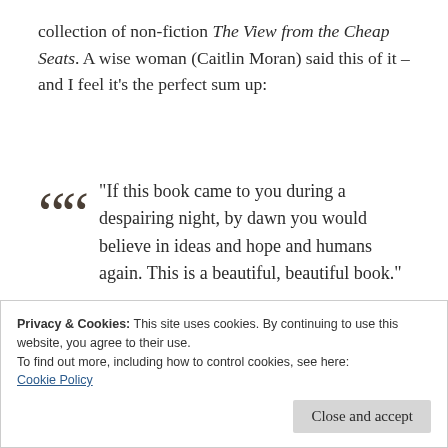collection of non-fiction The View from the Cheap Seats. A wise woman (Caitlin Moran) said this of it – and I feel it's the perfect sum up:
“If this book came to you during a despairing night, by dawn you would believe in ideas and hope and humans again. This is a beautiful, beautiful book.”
Privacy & Cookies: This site uses cookies. By continuing to use this website, you agree to their use.
To find out more, including how to control cookies, see here: Cookie Policy
Close and accept